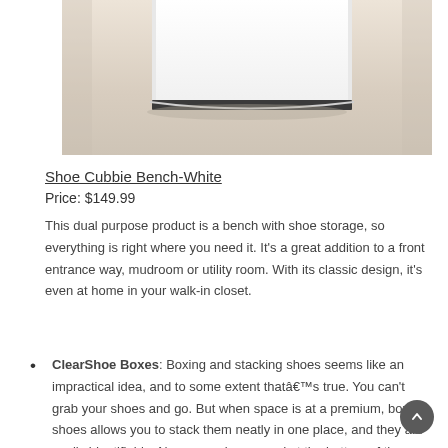[Figure (photo): Partial view of a white Shoe Cubbie Bench on a beige/tan carpet floor, showing the bottom portion of the furniture piece with a dark base.]
Shoe Cubbie Bench-White
Price: $149.99
This dual purpose product is a bench with shoe storage, so everything is right where you need it. It's a great addition to a front entrance way, mudroom or utility room. With its classic design, it's even at home in your walk-in closet.
ClearShoe Boxes: Boxing and stacking shoes seems like an impractical idea, and to some extent thatâ€™s true. You can't grab your shoes and go. But when space is at a premium, boxing shoes allows you to stack them neatly in one place, and they are easily identifiable. No scrounging around at the bottom of the closet trying to find a pair of matching shoes.